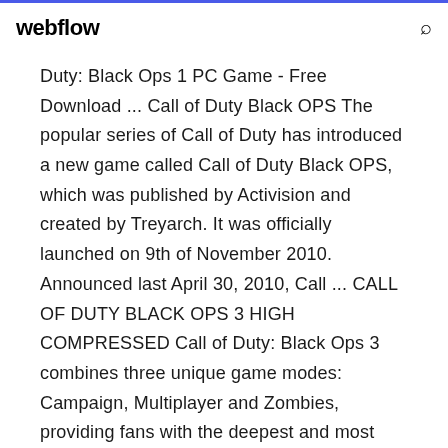webflow
Duty: Black Ops 1 PC Game - Free Download ... Call of Duty Black OPS The popular series of Call of Duty has introduced a new game called Call of Duty Black OPS, which was published by Activision and created by Treyarch. It was officially launched on 9th of November 2010. Announced last April 30, 2010, Call ... CALL OF DUTY BLACK OPS 3 HIGH COMPRESSED Call of Duty: Black Ops 3 combines three unique game modes: Campaign, Multiplayer and Zombies, providing fans with the deepest and most ambitious Call of Duty ever. The Campaign has been designed as a co-op game that can be played with up to 4 players online or as a solo cinematic thrill-ride. Multiplayer will be the